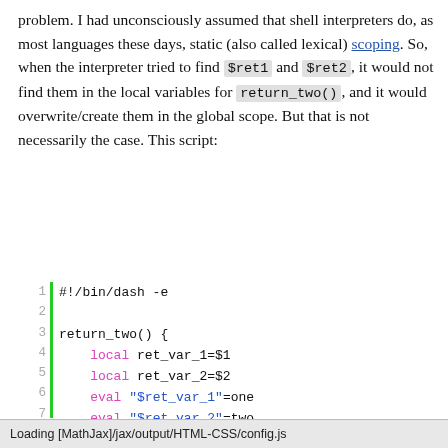problem. I had unconsciously assumed that shell interpreters do, as most languages these days, static (also called lexical) scoping. So, when the interpreter tried to find $ret1 and $ret2, it would not find them in the local variables for return_two(), and it would overwrite/create them in the global scope. But that is not necessarily the case. This script:
[Figure (screenshot): Code block showing a shell script with line numbers 1-10 and a green vertical bar. Lines: 1: #!/bin/dash -e, 2: (empty), 3: return_two() {, 4:     local ret_var_1=$1, 5:     local ret_var_2=$2, 6:     eval "$ret_var_1"=one, 7:     eval "$ret_var_2"=two, 8: }, 9: (empty), 10: calls_return_two() {]
Loading [MathJax]/jax/output/HTML-CSS/config.js